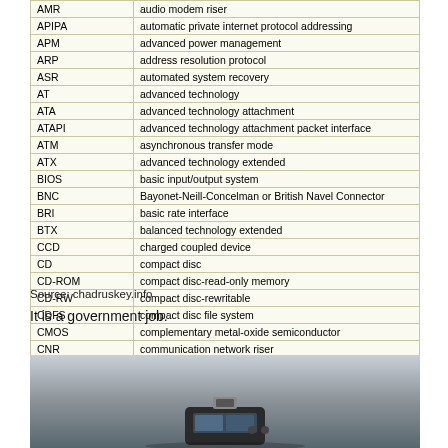| Abbreviation | Meaning |
| --- | --- |
| AMR | audio modem riser |
| APIPA | automatic private internet protocol addressing |
| APM | advanced power management |
| ARP | address resolution protocol |
| ASR | automated system recovery |
| AT | advanced technology |
| ATA | advanced technology attachment |
| ATAPI | advanced technology attachment packet interface |
| ATM | asynchronous transfer mode |
| ATX | advanced technology extended |
| BIOS | basic input/output system |
| BNC | Bayonet-Neill-Concelman or British Navel Connector |
| BRI | basic rate interface |
| BTX | balanced technology extended |
| CCD | charged coupled device |
| CD | compact disc |
| CD-ROM | compact disc-read-only memory |
| CD-RW | compact disc-rewritable |
| CDFS | compact disc file system |
| CMOS | complementary metal-oxide semiconductor |
| CNR | communication network riser |
Source: chadruskey.info
It is a government job.
[Figure (photo): Photo of a USB device or electronic gadget on a surface, viewed from above at an angle]